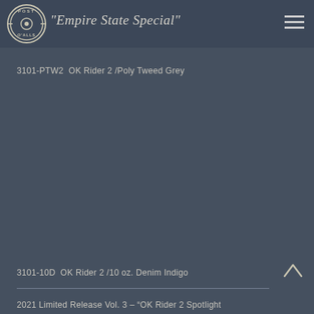"Empire State Special"
3101-PTW2  OK Rider 2 /Poly Tweed Grey
[Figure (photo): Product image area showing clothing item on dark grey background]
3101-10D  OK Rider 2 /10 oz. Denim Indigo
2021 Limited Release Vol. 3 – “OK Rider 2 Spotlight